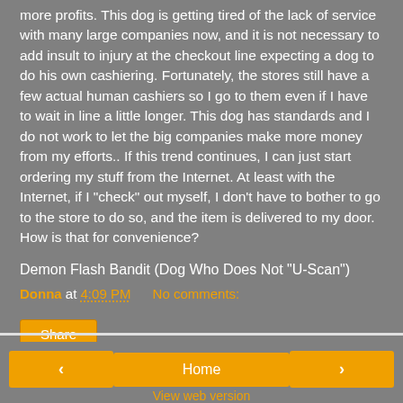more profits.  This dog is getting tired of the lack of service with many large companies now, and it is not necessary to add insult to injury at the checkout line expecting a dog to do his own cashiering.  Fortunately, the stores still have a few actual human cashiers so I go to them even if I have to wait in line a little longer.  This dog has standards and I do not work to let the big companies make more money from my efforts.. If this trend continues, I can just start ordering my stuff from the Internet.  At least with the Internet, if I "check" out myself, I don't have to bother to go to the store to do so, and the item is delivered to my door.  How is that for convenience?
Demon Flash Bandit (Dog Who Does Not "U-Scan")
Donna at 4:09 PM    No comments:
Share
‹  Home  ›
View web version